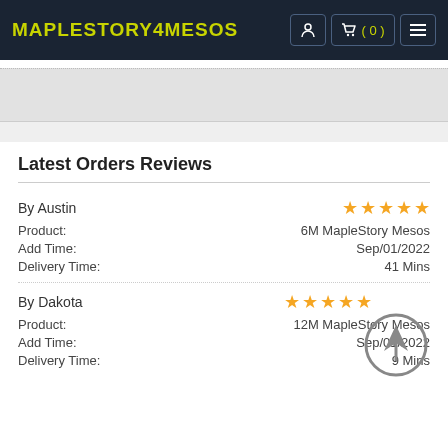MAPLESTORY4MESOS
Latest Orders Reviews
By Austin
Product: 6M MapleStory Mesos
Add Time: Sep/01/2022
Delivery Time: 41 Mins
By Dakota
Product: 12M MapleStory Mesos
Add Time: Sep/01/2022
Delivery Time: 9 Mins